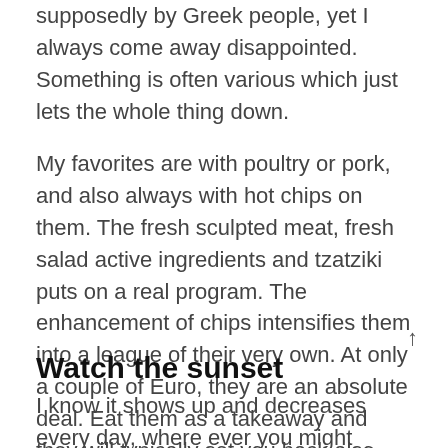supposedly by Greek people, yet I always come away disappointed. Something is often various which just lets the whole thing down.
My favorites are with poultry or pork, and also always with hot chips on them. The fresh sculpted meat, fresh salad active ingredients and tzatziki puts on a real program. The enhancement of chips intensifies them into a league of their very own. At only a couple of Euro, they are an absolute deal. Eat them as a takeaway and they will typically set you back also less.
Watch the sunset
I know it shows up and decreases every day, where ever you might remain in the globe. It is just one of those clinical facts that will certainly never ever alter. What does